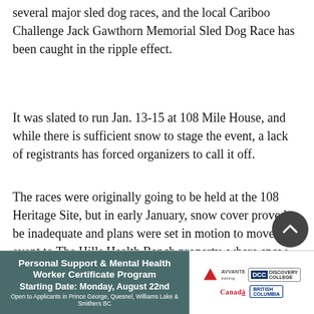several major sled dog races, and the local Cariboo Challenge Jack Gawthorn Memorial Sled Dog Race has been caught in the ripple effect.
It was slated to run Jan. 13-15 at 108 Mile House, and while there is sufficient snow to stage the event, a lack of registrants has forced organizers to call it off.
The races were originally going to be held at the 108 Heritage Site, but in early January, snow cover proved to be inadequate and plans were set in motion to move the event to The Hills Health Ranch property, where snow was plentiful and trails were well groomed.
The decision to cancel the event came on Jan. 7, and...
[Figure (infographic): Advertisement banner for Personal Support & Mental Health Worker Certificate Program. Starting Date: Monday, August 22nd. Open to Applicants in Prince George, Quesnel, Williams Lake & Smithers BC. Logos: AVVANTE, Discovery College, Canada, British Columbia.]